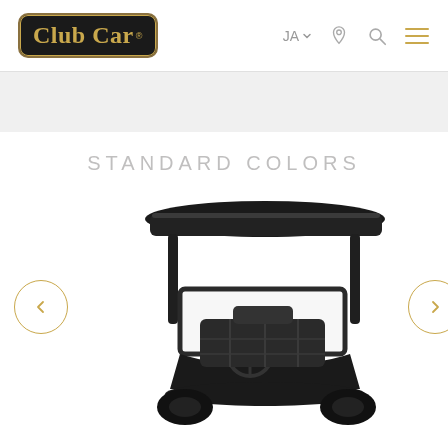[Figure (logo): Club Car logo: black rounded rectangle with gold border and gold text reading 'Club Car' with registered trademark symbol]
JA ▾
STANDARD COLORS
[Figure (photo): Front/top view of a black Club Car golf cart with black roof canopy, dark seat upholstery, steering wheel visible, photographed on white background]